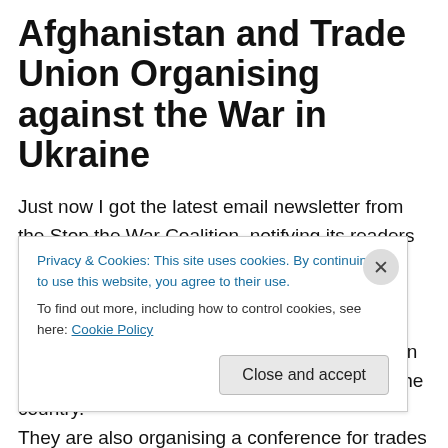Afghanistan and Trade Union Organising against the War in Ukraine
Just now I got the latest email newsletter from the Stop the War Coalition, notifying its readers of the organisation's forthcoming events. One will be an evening with veteran civil rights campaigner, author and broadcaster Tariq Ali about the consequences of forty years of war in Afghanistan, including NATO's occupation of the country. They are also organising a conference for trades unionists
Privacy & Cookies: This site uses cookies. By continuing to use this website, you agree to their use.
To find out more, including how to control cookies, see here: Cookie Policy